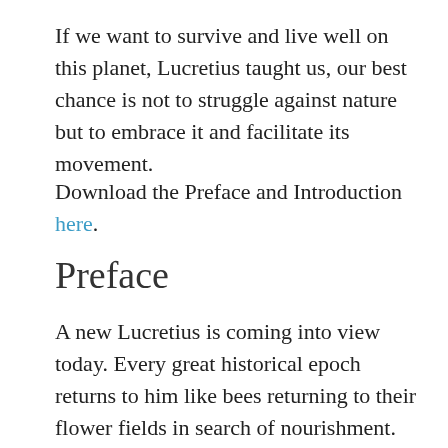If we want to survive and live well on this planet, Lucretius taught us, our best chance is not to struggle against nature but to embrace it and facilitate its movement.
Download the Preface and Introduction here.
Preface
A new Lucretius is coming into view today. Every great historical epoch returns to him like bees returning to their flower fields in search of nourishment. Each time, though, our return is different – like the expanding arc of a spiral. We bring new questions, find